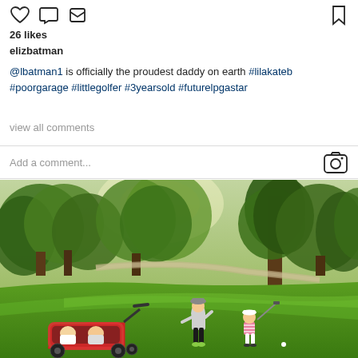26 likes
elizbatman
@lbatman1 is officially the proudest daddy on earth #lilakateb #poorgarage #littlegolfer #3yearsold #futurelpgastar
view all comments
Add a comment...
[Figure (photo): A woman and young child playing golf on a green golf course with large trees in the background. A red double stroller is in the foreground left. The child holds a golf club. Sunny autumn day.]